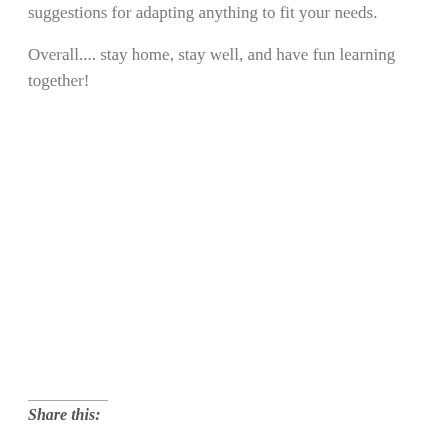suggestions for adapting anything to fit your needs.
Overall.... stay home, stay well, and have fun learning together!
Share this: